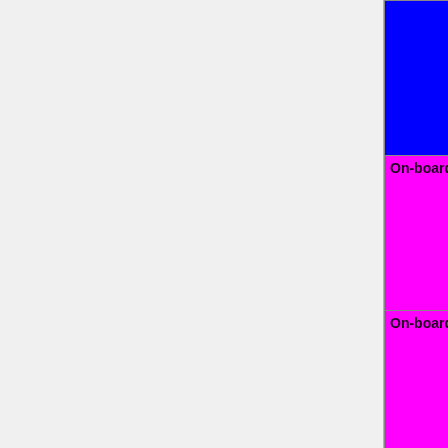| Feature | Status Legend |
| --- | --- |
| (blue cell - continuation) | No=red | WIP=orange | Untested=yellow | N/A=lightgray | yellow }}" | unknown |
| On-board USB | OK=lime | TODO=red | No=red | WIP=orange | Untested=yellow | N/A=lightgray | yellow }}" | OK |
| On-board VGA | OK=lime | TODO=red | No=red | WIP=orange | Untested=yellow | N/A=lightgray | yellow }}" | OK |
| On-board Ethernet | OK=lime | TODO=red | No=red | |